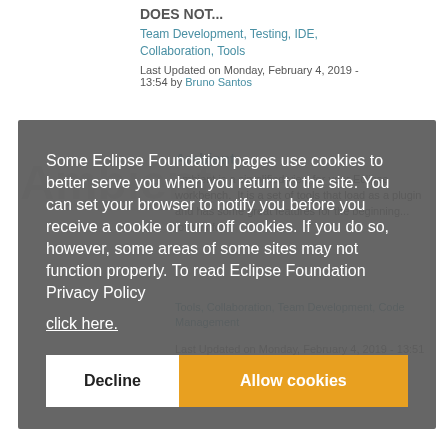DOES NOT...
Team Development, Testing, IDE, Collaboration, Tools
Last Updated on Monday, February 4, 2019 - 13:54 by Bruno Santos
Ambient
Ambient is a simplified view for your Eclipse workbench. It is a set of tools that load as a plugin and has some great features for the beginning... follows for
Tools, Collaboration, Team Development, Code Management
Last Updated on Monday, February 4, 2019 - 13:51 by Fardz Yashin
Some Eclipse Foundation pages use cookies to better serve you when you return to the site. You can set your browser to notify you before you receive a cookie or turn off cookies. If you do so, however, some areas of some sites may not function properly. To read Eclipse Foundation Privacy Policy
click here.
Decline
Allow cookies